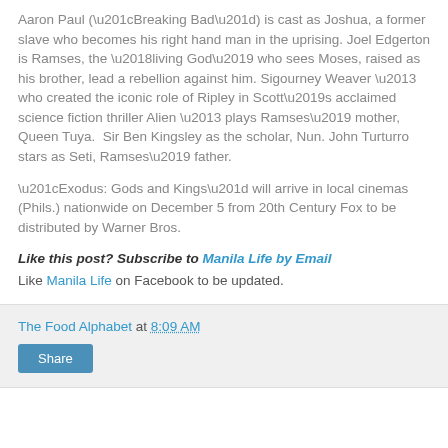Aaron Paul (“Breaking Bad”) is cast as Joshua, a former slave who becomes his right hand man in the uprising. Joel Edgerton is Ramses, the ‘living God’ who sees Moses, raised as his brother, lead a rebellion against him. Sigourney Weaver – who created the iconic role of Ripley in Scott’s acclaimed science fiction thriller Alien – plays Ramses’ mother, Queen Tuya.  Sir Ben Kingsley as the scholar, Nun. John Turturro stars as Seti, Ramses’ father.
“Exodus: Gods and Kings” will arrive in local cinemas (Phils.) nationwide on December 5 from 20th Century Fox to be distributed by Warner Bros.
Like this post? Subscribe to Manila Life by Email Like Manila Life on Facebook to be updated.
The Food Alphabet at 8:09 AM Share